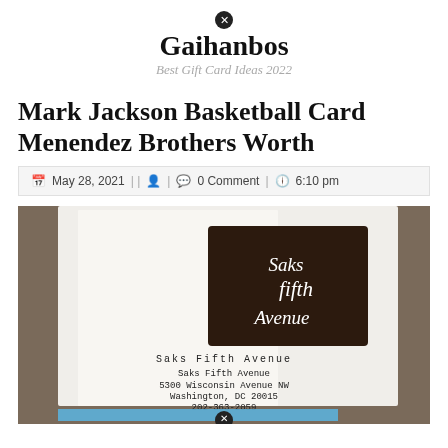Gaihanbos
Best Gift Card Ideas 2022
Mark Jackson Basketball Card Menendez Brothers Worth
May 28, 2021 | | 0 Comment | 6:10 pm
[Figure (photo): Photo of a Saks Fifth Avenue shopping bag showing the Saks Fifth Avenue logo and address: 5300 Wisconsin Avenue NW, Washington, DC 20015, 202-363-2059]